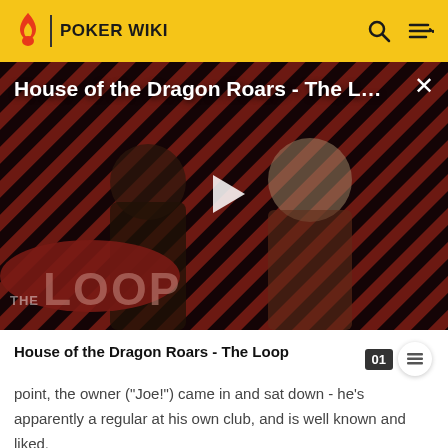POKER WIKI
[Figure (screenshot): Video thumbnail for 'House of the Dragon Roars - The Loop' showing two characters against a red and black diagonal striped background with a play button overlay and The Loop logo]
House of the Dragon Roars - The Loop
point, the owner ("Joe!") came in and sat down - he's apparently a regular at his own club, and is well known and liked.